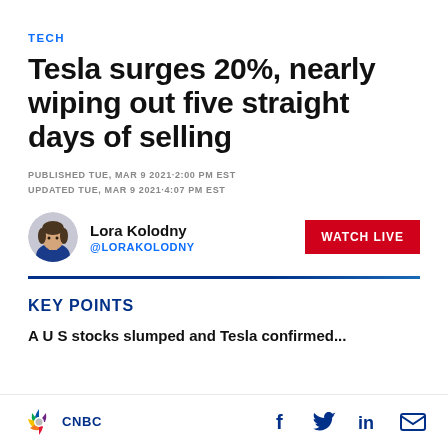TECH
Tesla surges 20%, nearly wiping out five straight days of selling
PUBLISHED TUE, MAR 9 2021·2:00 PM EST
UPDATED TUE, MAR 9 2021·4:07 PM EST
Lora Kolodny
@LORAKOLODNY
KEY POINTS
A U S st ock s slumped and Tesla confirmed...
CNBC  f  in  ✉